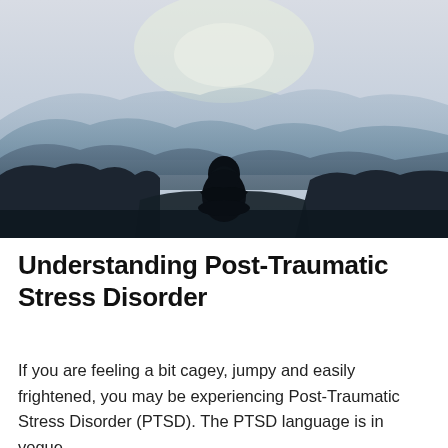[Figure (photo): A lone hooded figure sits on a rocky outcrop, seen from behind, overlooking a vast misty mountain valley with layered blue-grey ridges receding into a pale sky.]
Understanding Post-Traumatic Stress Disorder
If you are feeling a bit cagey, jumpy and easily frightened, you may be experiencing Post-Traumatic Stress Disorder (PTSD). The PTSD language is in vogue